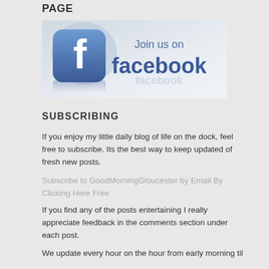PAGE
[Figure (illustration): Join us on Facebook banner with Facebook logo icon and text 'Join us on facebook']
SUBSCRIBING
If you enjoy my little daily blog of life on the dock, feel free to subscribe. Its the best way to keep updated of fresh new posts.
Subscribe to GoodMorningGloucester by Email By Clicking Here Free
If you find any of the posts entertaining I really appreciate feedback in the comments section under each post.
We update every hour on the hour from early morning til